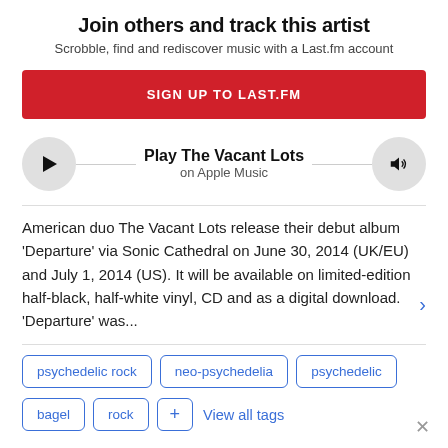Join others and track this artist
Scrobble, find and rediscover music with a Last.fm account
SIGN UP TO LAST.FM
Play The Vacant Lots
on Apple Music
American duo The Vacant Lots release their debut album 'Departure' via Sonic Cathedral on June 30, 2014 (UK/EU) and July 1, 2014 (US). It will be available on limited-edition half-black, half-white vinyl, CD and as a digital download. 'Departure' was...
psychedelic rock
neo-psychedelia
psychedelic
bagel
rock
+ View all tags